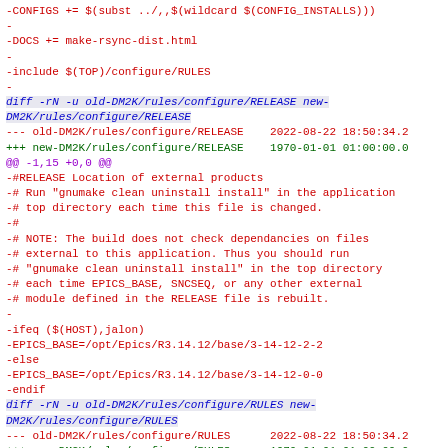Diff output showing changes to DM2K rules/configure files including RELEASE and RULES files with removed lines marked in red, diff headers in blue/italic, hunk markers in purple, and added lines in green.